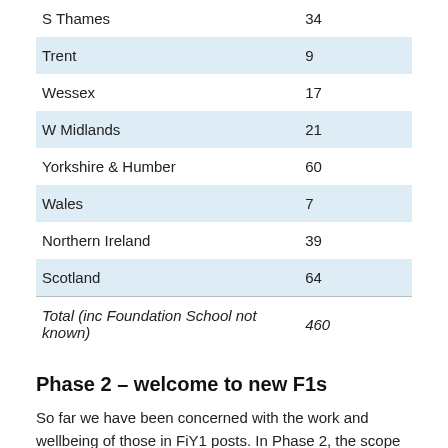| Region | Count |
| --- | --- |
| S Thames | 34 |
| Trent | 9 |
| Wessex | 17 |
| W Midlands | 21 |
| Yorkshire & Humber | 60 |
| Wales | 7 |
| Northern Ireland | 39 |
| Scotland | 64 |
| Total (inc Foundation School not known) | 460 |
Phase 2 – welcome to new F1s
So far we have been concerned with the work and wellbeing of those in FiY1 posts. In Phase 2, the scope broadens to encompass all doctors starting F1. We will be